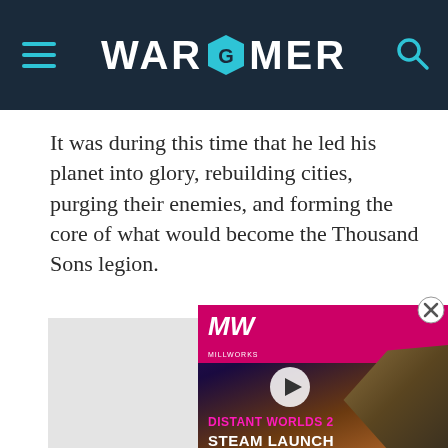WARGAMER
It was during this time that he led his planet into glory, rebuilding cities, purging their enemies, and forming the core of what would become the Thousand Sons legion.
[Figure (screenshot): Video advertisement for Distant Worlds 2 Steam Launch showing a spaceship in space with a play button, magenta/pink header with MW logo, and overlay close button]